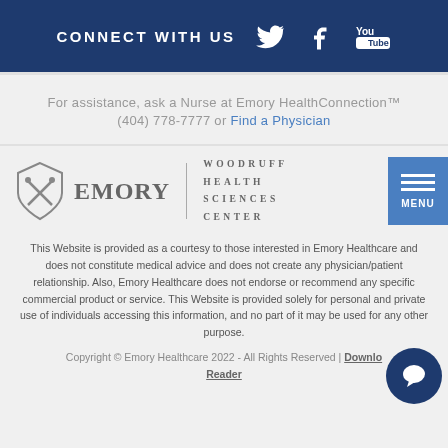CONNECT WITH US [Twitter] [Facebook] [YouTube]
For assistance, ask a Nurse at Emory HealthConnection™ (404) 778-7777 or Find a Physician
[Figure (logo): Emory Woodruff Health Sciences Center logo with shield icon and MENU button]
This Website is provided as a courtesy to those interested in Emory Healthcare and does not constitute medical advice and does not create any physician/patient relationship. Also, Emory Healthcare does not endorse or recommend any specific commercial product or service. This Website is provided solely for personal and private use of individuals accessing this information, and no part of it may be used for any other purpose.
Copyright © Emory Healthcare 2022 - All Rights Reserved | Download Reader